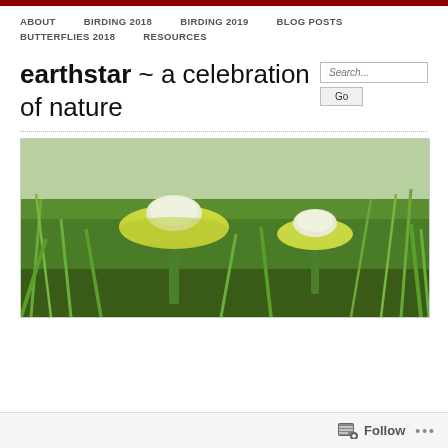ABOUT   BIRDING 2018   BIRDING 2019   BLOG POSTS   BUTTERFLIES 2018   RESOURCES
earthstar ~ a celebration of nature
[Figure (photo): Two yellow-green mushrooms with white caps growing in green grass, close-up nature photograph]
Follow ...